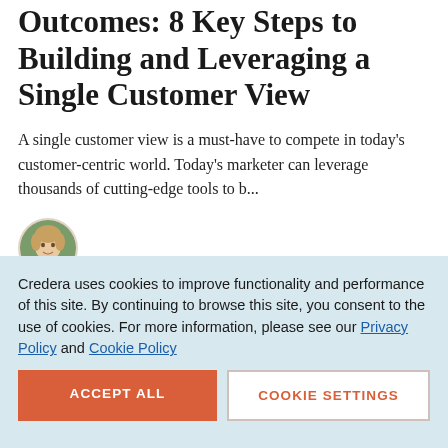Outcomes: 8 Key Steps to Building and Leveraging a Single Customer View
A single customer view is a must-have to compete in today's customer-centric world. Today's marketer can leverage thousands of cutting-edge tools to b...
[Figure (photo): Circular avatar/headshot of a person with light hair, outdoors background]
Credera uses cookies to improve functionality and performance of this site. By continuing to browse this site, you consent to the use of cookies. For more information, please see our Privacy Policy and Cookie Policy
ACCEPT ALL
COOKIE SETTINGS